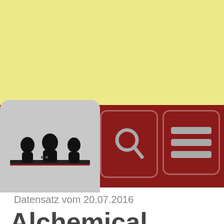[Figure (screenshot): App header screenshot showing a dark red navigation bar with a logo (silhouette of people at a table on a grey rounded rectangle), a search button (magnifying glass icon), and a menu button (three horizontal lines icon) on a yellow background.]
Datensatz vom 20.07.2016
Alchemical